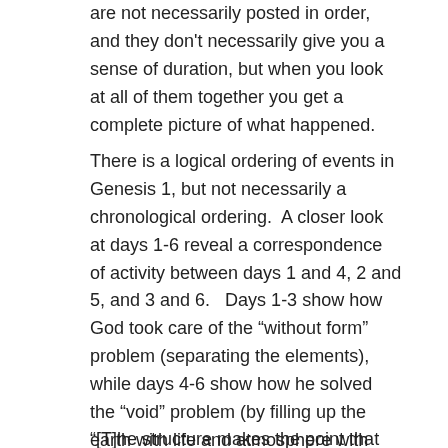are not necessarily posted in order, and they don't necessarily give you a sense of duration, but when you look at all of them together you get a complete picture of what happened.
There is a logical ordering of events in Genesis 1, but not necessarily a chronological ordering.  A closer look at days 1-6 reveal a correspondence of activity between days 1 and 4, 2 and 5, and 3 and 6.   Days 1-3 show how God took care of the “without form” problem (separating the elements), while days 4-6 show how he solved the “void” problem (by filling up the earth with life and atmosphere with lights). For example, on day 2 God created the atmosphere, and on day 5 he created the birds to inhabit the skies.
“[T]he structure makes the point that both order and